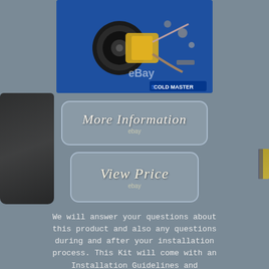[Figure (photo): AC compressor kit product photo on blue background with COLD MASTER branding and eBay watermark]
[Figure (screenshot): More Information button with eBay branding]
[Figure (screenshot): View Price button with eBay branding]
We will answer your questions about this product and also any questions during and after your installation process. This Kit will come with an Installation Guidelines and Recommendations Manual. We recommend that this system is